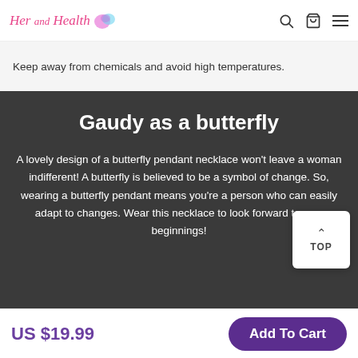Her and Health [logo] [search] [cart] [menu]
Keep away from chemicals and avoid high temperatures.
Gaudy as a butterfly
A lovely design of a butterfly pendant necklace won't leave a woman indifferent! A butterfly is believed to be a symbol of change. So, wearing a butterfly pendant means you're a person who can easily adapt to changes. Wear this necklace to look forward to new beginnings!
US $19.99
Add To Cart